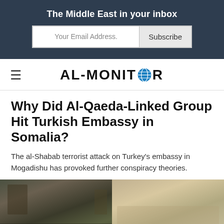The Middle East in your inbox
Your Email Address.   Subscribe
[Figure (logo): AL-MONITOR logo with globe icon replacing the letter O]
Why Did Al-Qaeda-Linked Group Hit Turkish Embassy in Somalia?
The al-Shabab terrorist attack on Turkey's embassy in Mogadishu has provoked further conspiracy theories.
[Figure (photo): Two-panel photograph: left panel shows people near damaged structure with barbed wire; right panel shows a group of people standing outside a building]